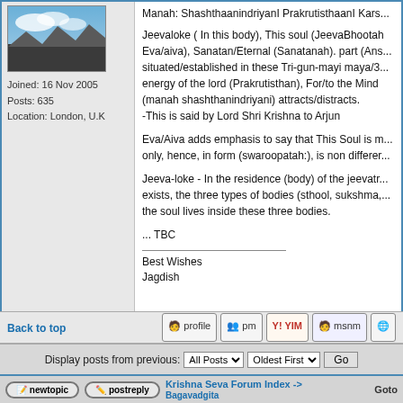[Figure (photo): Mountain landscape photo, blue sky with clouds, dark land in foreground]
Joined: 16 Nov 2005
Posts: 635
Location: London, U.K
Manah: Shashthaanindriyanl Prakrutisthaani Kars... Jeevaloke ( In this body), This soul (JeevaBhootah Eva/aiva), Sanatan/Eternal (Sanatanah). part (Ans... situated/established in these Tri-gun-mayi maya/3... energy of the lord (Prakrutisthan), For/to the Mind (manah shashthanindriyani) attracts/distracts.
-This is said by Lord Shri Krishna to Arjun

Eva/Aiva adds emphasis to say that This Soul is m... only, hence, in form (swaroopatah:), is non differer...

Jeeva-loke - In the residence (body) of the jeevatr... exists, the three types of bodies (sthool, sukshma,... the soul lives inside these three bodies.

... TBC
Best Wishes
Jagdish
Back to top
Display posts from previous: All Posts Oldest First Go
newtopic   postreply   Krishna Seva Forum Index -> Bagavadgita   Goto